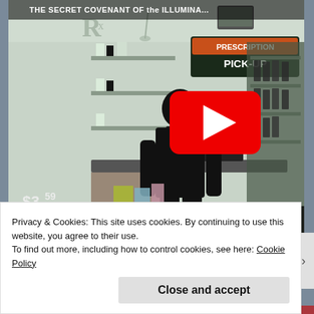[Figure (screenshot): YouTube video thumbnail showing a pharmacy interior scene (black and white/teal toned) with a person in dark clothing standing at a pharmacy counter with 'PRESCRIPTION PICK-UP' sign. A large YouTube play button is overlaid in the center. The video title at top reads 'THE SECRET COVENANT OF the ILLUMINA...' A 'Watch on YouTube' bar appears at the bottom of the video frame. The price tag '$3.59' is visible in the lower left.]
Privacy & Cookies: This site uses cookies. By continuing to use this website, you agree to their use.
To find out more, including how to control cookies, see here: Cookie Policy
Close and accept